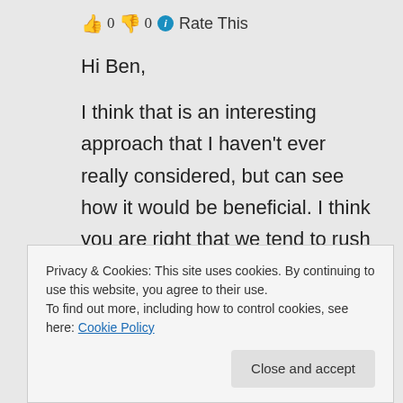👍 0 👎 0 ℹ Rate This
Hi Ben,
I think that is an interesting approach that I haven't ever really considered, but can see how it would be beneficial. I think you are right that we tend to rush through scriptures too quickly.
Have you ever done this since your
Privacy & Cookies: This site uses cookies. By continuing to use this website, you agree to their use.
To find out more, including how to control cookies, see here: Cookie Policy
Close and accept